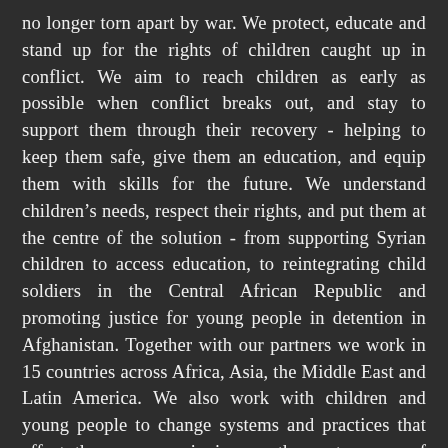no longer torn apart by war. We protect, educate and stand up for the rights of children caught up in conflict. We aim to reach children as early as possible when conflict breaks out, and stay to support them through their recovery - helping to keep them safe, give them an education, and equip them with skills for the future. We understand children's needs, respect their rights, and put them at the centre of the solution - from supporting Syrian children to access education, to reintegrating child soldiers in the Central African Republic and promoting justice for young people in detention in Afghanistan. Together with our partners we work in 15 countries across Africa, Asia, the Middle East and Latin America. We also work with children and young people to change systems and practices that affect them – campaigning on the root causes of conflict and demanding that children are at the centre of humanitarian response.